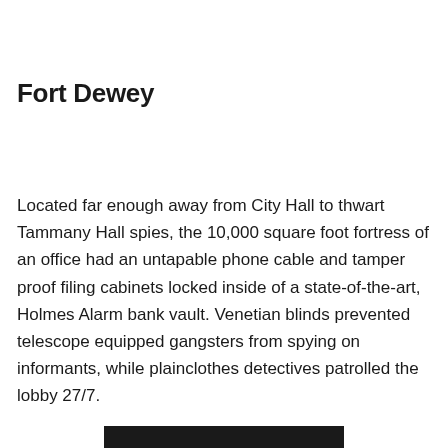Fort Dewey
Located far enough away from City Hall to thwart Tammany Hall spies, the 10,000 square foot fortress of an office had an untapable phone cable and tamper proof filing cabinets locked inside of a state-of-the-art, Holmes Alarm bank vault. Venetian blinds prevented telescope equipped gangsters from spying on informants, while plainclothes detectives patrolled the lobby 27/7.
[Figure (photo): Partial black bar visible at bottom of page, likely top edge of a photograph]